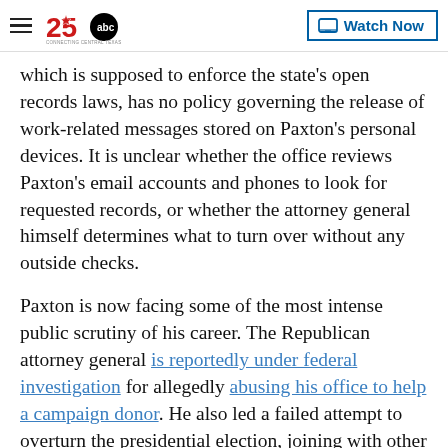KXXV ABC 25 — Watch Now
which is supposed to enforce the state's open records laws, has no policy governing the release of work-related messages stored on Paxton's personal devices. It is unclear whether the office reviews Paxton's email accounts and phones to look for requested records, or whether the attorney general himself determines what to turn over without any outside checks.
Paxton is now facing some of the most intense public scrutiny of his career. The Republican attorney general is reportedly under federal investigation for allegedly abusing his office to help a campaign donor. He also led a failed attempt to overturn the presidential election, joining with other GOP attorneys general in a lawsuit seeking to invalidate swing state victories by